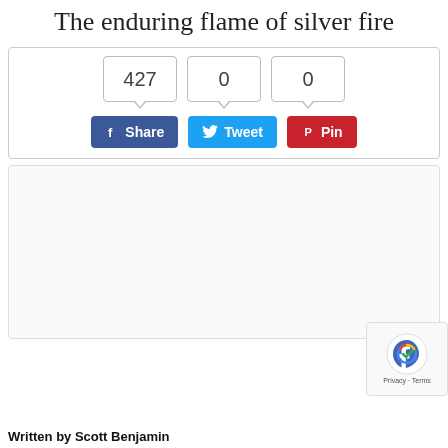The enduring flame of silver fire
[Figure (infographic): Social share widget with counters (427, 0, 0) and Facebook Share, Twitter Tweet, Pinterest Pin buttons]
[Figure (other): Advertisement or content placeholder box — large light grey bordered rectangle]
[Figure (other): reCAPTCHA badge overlay showing Google reCAPTCHA logo with Privacy and Terms links]
Written by Scott Benjamin